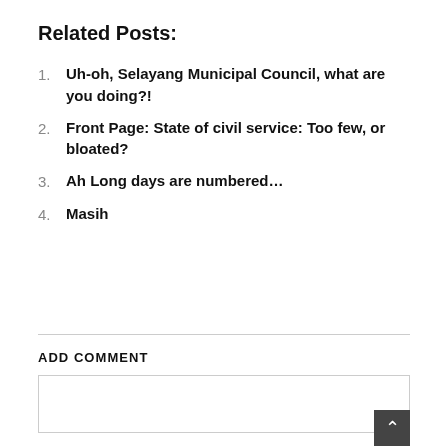Related Posts:
Uh-oh, Selayang Municipal Council, what are you doing?!
Front Page: State of civil service: Too few, or bloated?
Ah Long days are numbered…
Masih
ADD COMMENT